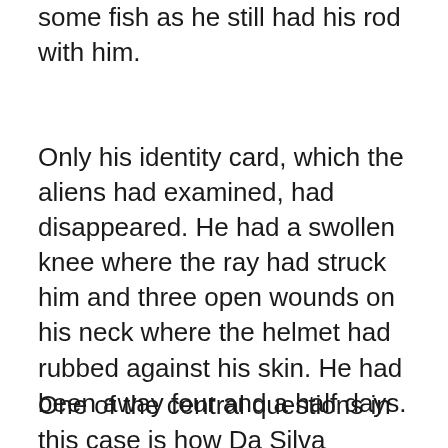some fish as he still had his rod with him.
Only his identity card, which the aliens had examined, had disappeared. He had a swollen knee where the ray had struck him and three open wounds on his neck where the helmet had rubbed against his skin. He had been away four and a half days.
One of the central questions in this case is how Da Silva travelled the